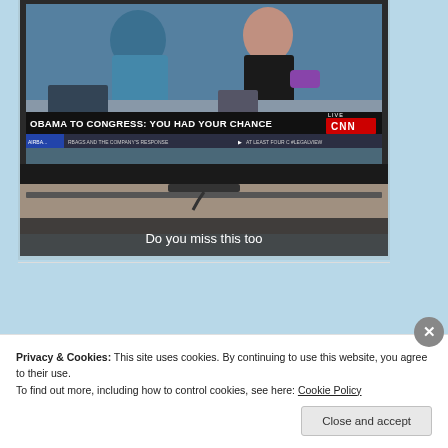[Figure (photo): A photograph of a TV screen showing CNN broadcast with headline 'OBAMA TO CONGRESS: YOU HAD YOUR CHANCE' with a LIVE CNN logo. Below the TV screen image is a dark caption bar reading 'Do you miss this too'. The TV is sitting on a surface.]
Privacy & Cookies: This site uses cookies. By continuing to use this website, you agree to their use.
To find out more, including how to control cookies, see here: Cookie Policy
Close and accept